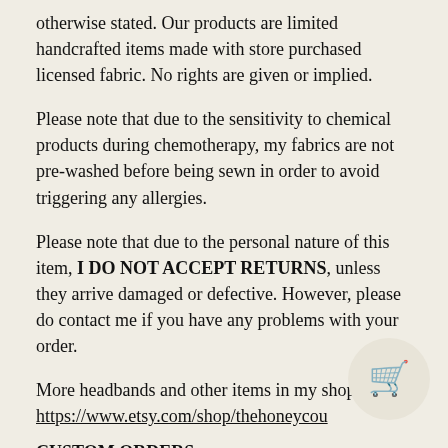otherwise stated. Our products are limited handcrafted items made with store purchased licensed fabric. No rights are given or implied.
Please note that due to the sensitivity to chemical products during chemotherapy, my fabrics are not pre-washed before being sewn in order to avoid triggering any allergies.
Please note that due to the personal nature of this item, I DO NOT ACCEPT RETURNS, unless they arrive damaged or defective. However, please do contact me if you have any problems with your order.
More headbands and other items in my shop https://www.etsy.com/shop/thehoneycou
CUSTOM ORDERS: